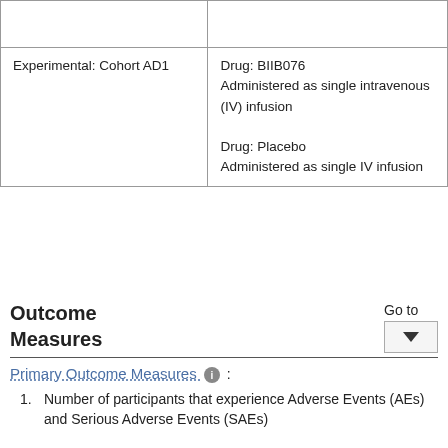| Arm | Intervention |
| --- | --- |
|  |  |
| Experimental: Cohort AD1 | Drug: BIIB076
Administered as single intravenous (IV) infusion

Drug: Placebo
Administered as single IV infusion |
Outcome Measures
Go to
Primary Outcome Measures :
1. Number of participants that experience Adverse Events (AEs) and Serious Adverse Events (SAEs)